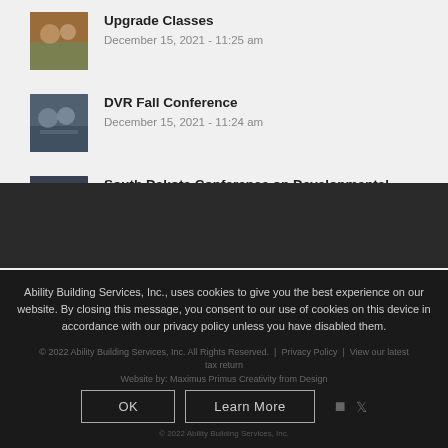Upgrade Classes
December 15, 2021 - 11:25 am
DVR Fall Conference
December 15, 2021 - 11:24 am
South Dakota Conference on Developmental Disabilities
December 15, 2021 - 11:23 am
© 2022 Ability Building Services, Inc. All Rights Reserved. | Privacy Policy | View our latest tax return
Website by: Maximus Primus Creativity from Design
Ability Building Services, Inc., uses cookies to give you the best experience on our website. By closing this message, you consent to our use of cookies on this device in accordance with our privacy policy unless you have disabled them.
OK    Learn More